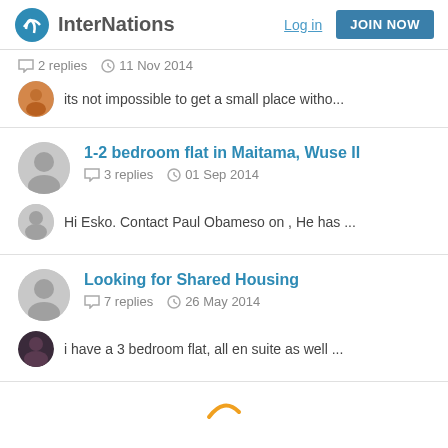InterNations  Log in  JOIN NOW
2 replies  11 Nov 2014
its not impossible to get a small place witho...
1-2 bedroom flat in Maitama, Wuse II
3 replies  01 Sep 2014
Hi Esko. Contact Paul Obameso on , He has ...
Looking for Shared Housing
7 replies  26 May 2014
i have a 3 bedroom flat, all en suite as well ...